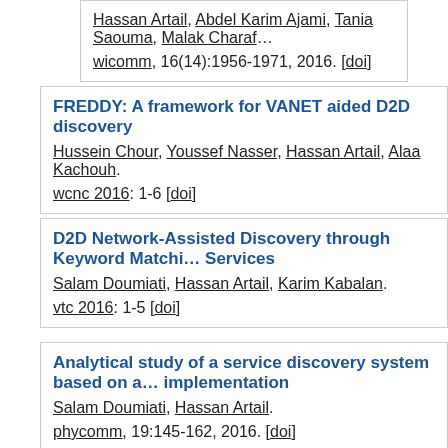Hassan Artail, Abdel Karim Ajami, Tania Saouma, Malak Charaf. wicomm, 16(14):1956-1971, 2016. [doi]
FREDDY: A framework for VANET aided D2D discovery. Hussein Chour, Youssef Nasser, Hassan Artail, Alaa Kachouh. wcnc 2016: 1-6 [doi]
D2D Network-Assisted Discovery through Keyword Matching Services. Salam Doumiati, Hassan Artail, Karim Kabalan. vtc 2016: 1-5 [doi]
Analytical study of a service discovery system based on an implementation. Salam Doumiati, Hassan Artail. phycomm, 19:145-162, 2016. [doi]
A mathematical model to analyze the utilization of a cloud middleware